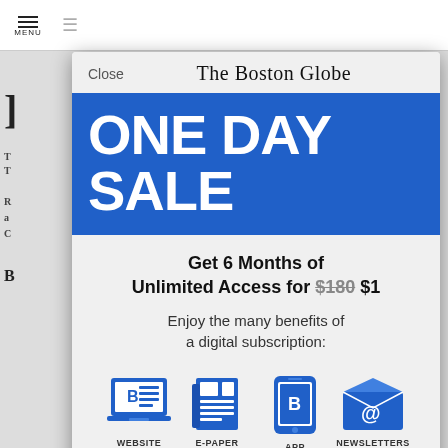The Boston Globe
ONE DAY SALE
Get 6 Months of Unlimited Access for $180 $1
Enjoy the many benefits of a digital subscription:
[Figure (infographic): Four blue icons representing WEBSITE (laptop with Boston Globe logo), E-PAPER (newspaper), APP (mobile phone with Boston Globe logo), NEWSLETTERS (envelope with @ symbol)]
WEBSITE
E-PAPER
APP
NEWSLETTERS